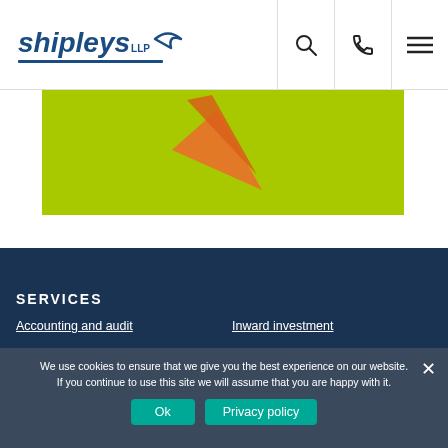[Figure (logo): Shipleys LLP logo with dark blue italic text and arrow shape]
[Figure (screenshot): Navigation bar with search, phone, and hamburger menu icons]
[Figure (illustration): Green banner with orange paper airplane shapes]
SERVICES
Accounting and audit
Inward investment
We use cookies to ensure that we give you the best experience on our website. If you continue to use this site we will assume that you are happy with it.